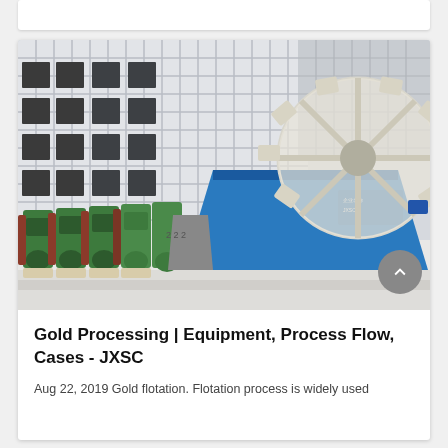[Figure (photo): Outdoor photo of industrial mining/mineral processing equipment: a large blue metal bin/hopper with a large white wheel-type mechanical device on top, and a row of green industrial machines (flotation cells or similar) lined up to the left, set against a building with a white tiled/grid facade and dark windows.]
Gold Processing | Equipment, Process Flow, Cases - JXSC
Aug 22, 2019 Gold flotation. Flotation process is widely used